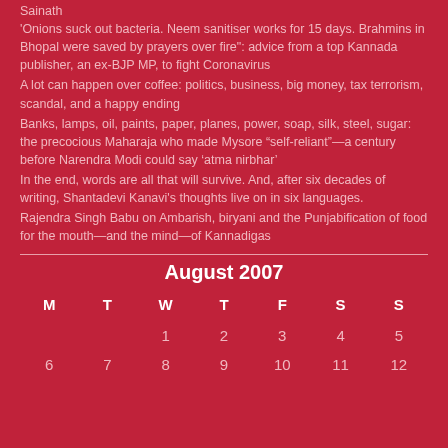Sainath
'Onions suck out bacteria. Neem sanitiser works for 15 days. Brahmins in Bhopal were saved by prayers over fire": advice from a top Kannada publisher, an ex-BJP MP, to fight Coronavirus
A lot can happen over coffee: politics, business, big money, tax terrorism, scandal, and a happy ending
Banks, lamps, oil, paints, paper, planes, power, soap, silk, steel, sugar: the precocious Maharaja who made Mysore “self-reliant”—a century before Narendra Modi could say ‘atma nirbhar’
In the end, words are all that will survive. And, after six decades of writing, Shantadevi Kanavi's thoughts live on in six languages.
Rajendra Singh Babu on Ambarish, biryani and the Punjabification of food for the mouth—and the mind—of Kannadigas
| M | T | W | T | F | S | S |
| --- | --- | --- | --- | --- | --- | --- |
|  |  | 1 | 2 | 3 | 4 | 5 |
| 6 | 7 | 8 | 9 | 10 | 11 | 12 |